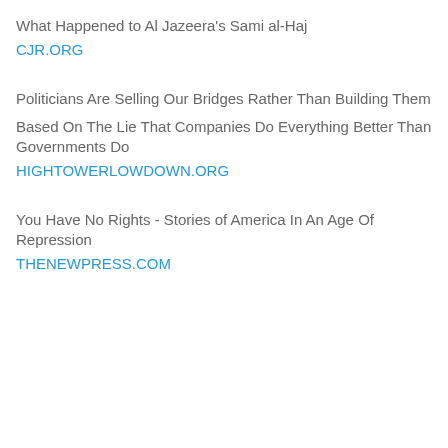What Happened to Al Jazeera's Sami al-Haj
CJR.ORG
Politicians Are Selling Our Bridges Rather Than Building Them
Based On The Lie That Companies Do Everything Better Than Governments Do
HIGHTOWERLOWDOWN.ORG
You Have No Rights - Stories of America In An Age Of Repression
THENEWPRESS.COM